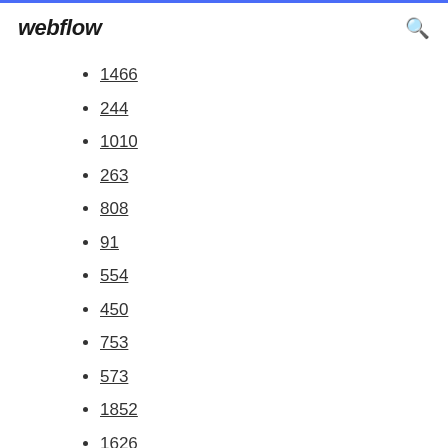webflow
1466
244
1010
263
808
91
554
450
753
573
1852
1626